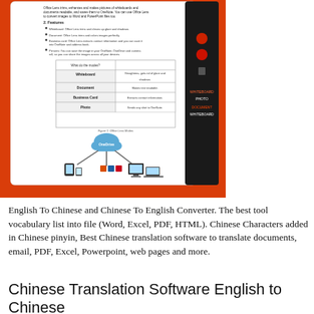[Figure (screenshot): Screenshot of a tablet/phone app (Office Lens) showing a document with features list and a table of modes (Whiteboard, Document, Business Card, Photo), plus a diagram showing OneDrive cloud sync to various devices. The screen is shown on an orange/red background.]
English To Chinese and Chinese To English Converter. The best tool vocabulary list into file (Word, Excel, PDF, HTML). Chinese Characters added in Chinese pinyin, Best Chinese translation software to translate documents, email, PDF, Excel, Powerpoint, web pages and more.
Chinese Translation Software English to Chinese